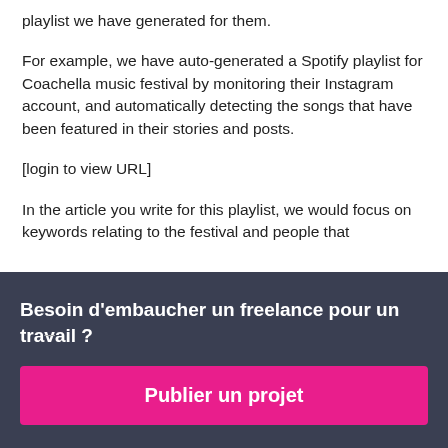playlist we have generated for them.
For example, we have auto-generated a Spotify playlist for Coachella music festival by monitoring their Instagram account, and automatically detecting the songs that have been featured in their stories and posts.
[login to view URL]
In the article you write for this playlist, we would focus on keywords relating to the festival and people that
Besoin d'embaucher un freelance pour un travail ?
Publier un projet